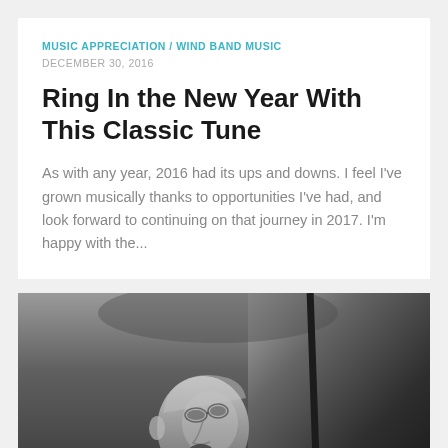MUSIC APPRECIATION / WIND BAND MUSIC
DECEMBER 30, 2016
Ring In the New Year With This Classic Tune
As with any year, 2016 had its ups and downs. I feel I've grown musically thanks to opportunities I've had, and look forward to continuing on that journey in 2017. I'm happy with the...
[Figure (photo): Black and white photograph of an elderly man, appearing to be a conductor or musician, photographed from below looking upward. A vertical pole or microphone stand is visible to the right.]